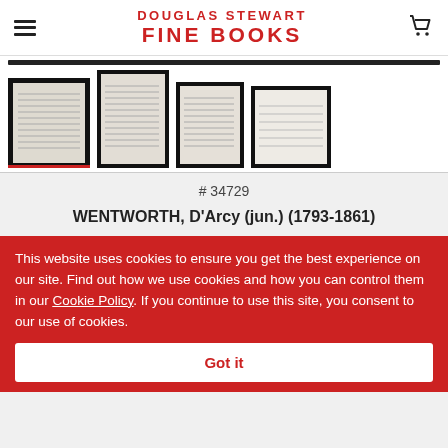DOUGLAS STEWART FINE BOOKS
[Figure (photo): Four thumbnail images of handwritten document pages, the first one selected with a red underline indicator]
# 34729
WENTWORTH, D'Arcy (jun.) (1793-1861)
This website uses cookies to ensure you get the best experience on our site. Find out how we use cookies and how you can control them in our Cookie Policy. If you continue to use this site, you consent to our use of cookies.
Got it